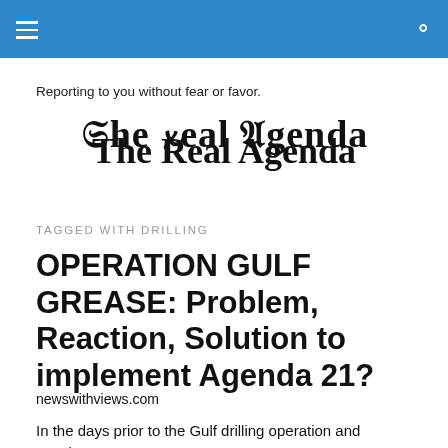Navigation bar with hamburger menu and search icon
Reporting to you without fear or favor.
The Real Agenda
TAGGED WITH DRILLING
OPERATION GULF GREASE: Problem, Reaction, Solution to implement Agenda 21?
newswithviews.com
In the days prior to the Gulf drilling operation and ensuing